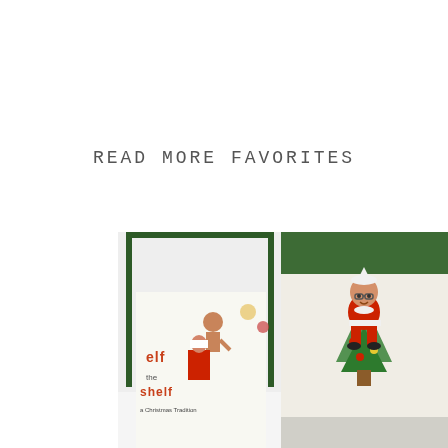READ MORE FAVORITES
[Figure (photo): Two side-by-side photos showing Elf on the Shelf book/box set. Left photo shows the green-framed Elf on the Shelf box with the book visible inside. Right photo shows a close-up of the illustrated elf character wearing glasses, in a red and white outfit, lying on a book page.]